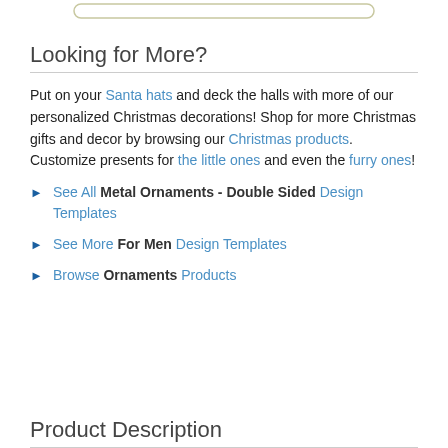Looking for More?
Put on your Santa hats and deck the halls with more of our personalized Christmas decorations! Shop for more Christmas gifts and decor by browsing our Christmas products. Customize presents for the little ones and even the furry ones!
See All Metal Ornaments - Double Sided Design Templates
See More For Men Design Templates
Browse Ornaments Products
Product Description